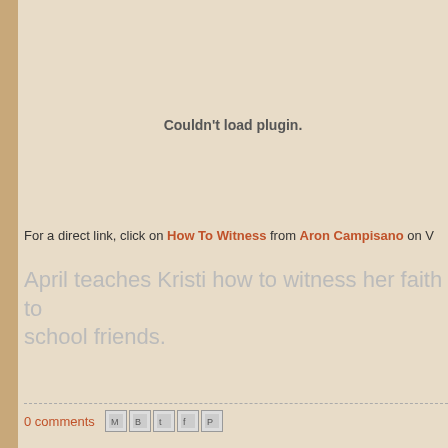[Figure (other): Plugin error placeholder showing 'Couldn't load plugin.']
For a direct link, click on How To Witness from Aron Campisano on V
April teaches Kristi how to witness her faith to school friends.
0 comments